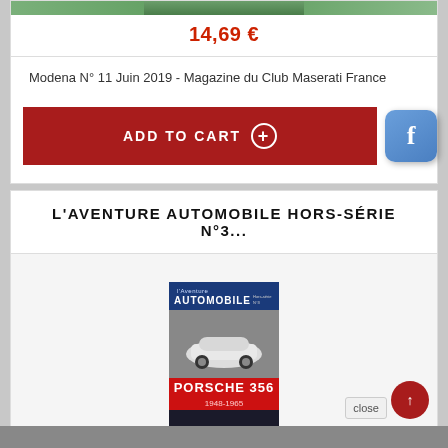[Figure (photo): Partial top image strip (green/landscape photo, cropped at top)]
14,69 €
Modena N° 11 Juin 2019 - Magazine du Club Maserati France
ADD TO CART +
L'AVENTURE AUTOMOBILE HORS-SÉRIE N°3...
[Figure (photo): Magazine cover: L'Aventure Automobile Hors-Série featuring Porsche 356 (1948-1965)]